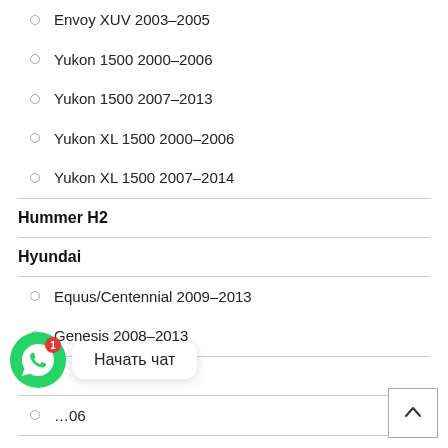Envoy XUV 2003-2005
Yukon 1500 2000-2006
Yukon 1500 2007-2013
Yukon XL 1500 2000-2006
Yukon XL 1500 2007-2014
Hummer H2
Hyundai
Equus/Centennial 2009-2013
Genesis 2008-2013
Infi
...06
Jaguar